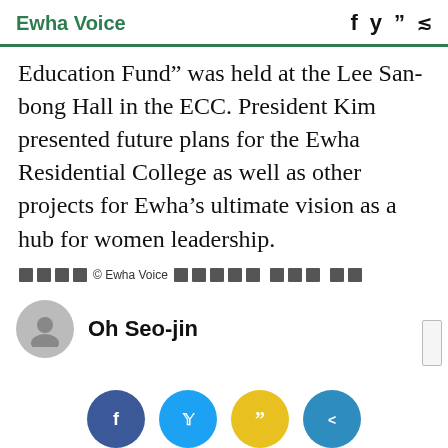Ewha Voice
Education Fund” was held at the Lee Sanbong Hall in the ECC. President Kim presented future plans for the Ewha Residential College as well as other projects for Ewha’s ultimate vision as a hub for women leadership.
© Ewha Voice
Oh Seo-jin